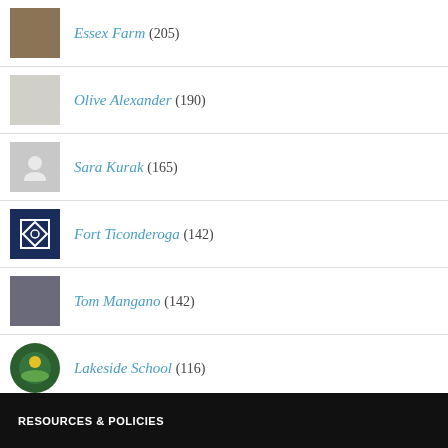Essex Farm (205)
Olive Alexander (190)
Sara Kurak (165)
Fort Ticonderoga (142)
Tom Mangano (142)
Lakeside School (116)
RESOURCES & POLICIES